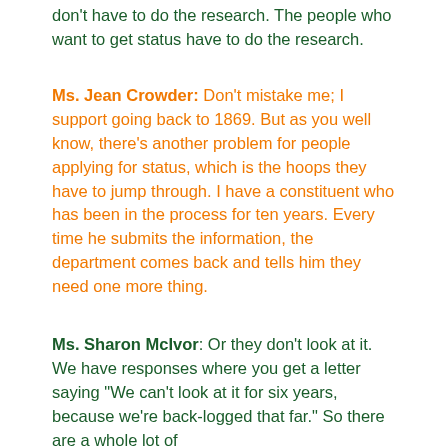don't have to do the research. The people who want to get status have to do the research.
Ms. Jean Crowder: Don't mistake me; I support going back to 1869. But as you well know, there's another problem for people applying for status, which is the hoops they have to jump through. I have a constituent who has been in the process for ten years. Every time he submits the information, the department comes back and tells him they need one more thing.
Ms. Sharon McIvor: Or they don't look at it. We have responses where you get a letter saying "We can't look at it for six years, because we're back-logged that far." So there are a whole lot of